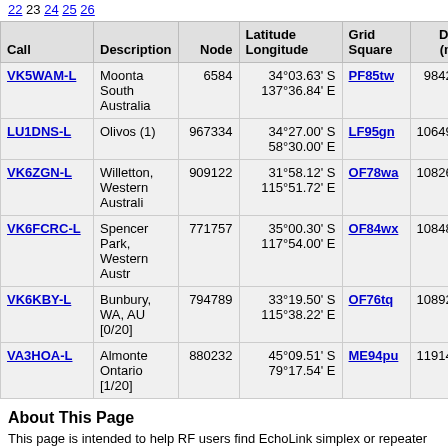22 23 24 25 26
| Call | Description | Node | Latitude
Longitude | Grid
Square | Dist
(mi) | Freq
(Mhz) |
| --- | --- | --- | --- | --- | --- | --- |
| VK5WAM-L | Moonta South Australia | 6584 | 34°03.63' S 137°36.84' E | PF85tw | 9842.0 | 438.325 |
| LU1DNS-L | Olivos (1) | 967334 | 34°27.00' S 58°30.00' E | LF95gn | 10649.7 | 145.550 |
| VK6ZGN-L | Willetton, Western Australi | 909122 | 31°58.12' S 115°51.72' E | OF78wa | 10826.0 | 146.750 |
| VK6FCRC-L | Spencer Park, Western Austr | 771757 | 35°00.30' S 117°54.00' E | OF84wx | 10848.9 |  |
| VK6KBY-L | Bunbury, WA, AU [0/20] | 794789 | 33°19.50' S 115°38.22' E | OF76tq | 10892.9 |  |
| VA3HOA-L | Almonte Ontario [1/20] | 880232 | 45°09.51' S 79°17.54' E | ME94pu | 11914.9 | 145.550 |
About This Page
This page is intended to help RF users find EchoLink simplex or repeater link